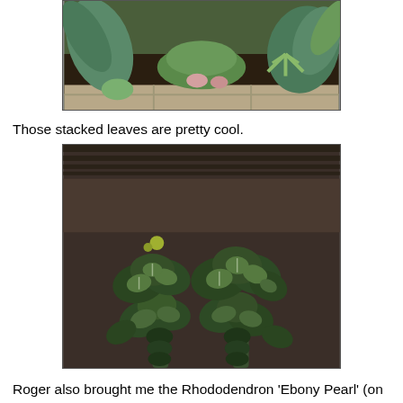[Figure (photo): Garden bed with various green plants, succulents and ferns growing in dark soil next to a paved path]
Those stacked leaves are pretty cool.
[Figure (photo): Close-up of two Peperomia plants with dark green textured/wrinkled leaves with silvery veins, set against a dark brown background]
Roger also brought me the Rhododendron 'Ebony Pearl' (on the left), those of you who read rhododendron and think massive shrub don't need to worry, this one shouldn't get too